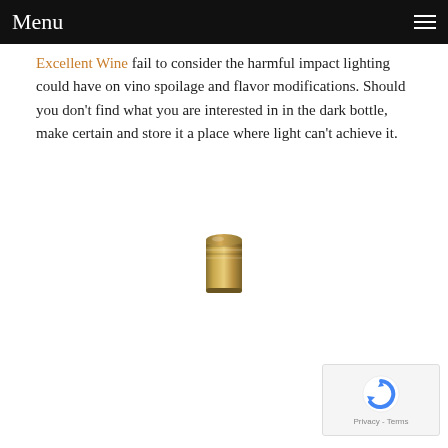Menu
Excellent Wine fail to consider the harmful impact lighting could have on vino spoilage and flavor modifications. Should you don't find what you are interested in in the dark bottle, make certain and store it a place where light can't achieve it.
[Figure (photo): Gold-colored wine bottle cap/cork top viewed from above, isolated on white background]
[Figure (other): reCAPTCHA widget showing Google reCAPTCHA logo with Privacy - Terms text]